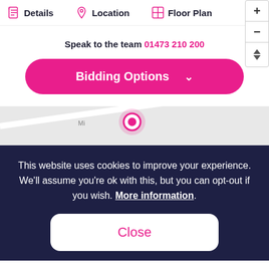Details  Location  Floor Plan
Speak to the team 01473 210 200
Bidding Options
[Figure (map): Map area with location pin marker]
This website uses cookies to improve your experience. We'll assume you're ok with this, but you can opt-out if you wish. More information.
Close